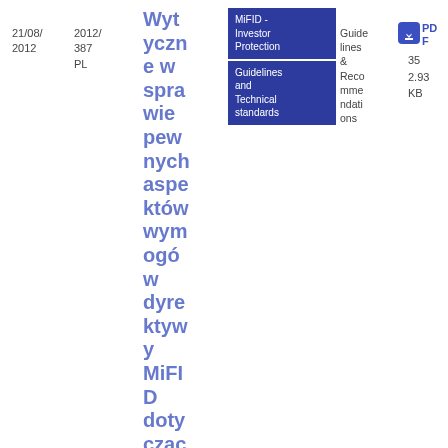21/08/2012
2012/387 PL
Wytyczne w sprawie pewnych aspektów wymogów dyrektywy MiFID dotyczących odp owie
MiFID - Investor Protection
Guidelines and Technical standards
Guidelines & Recommendations
[Figure (other): PDF download icon - blue square with downward arrow]
PDF
35
2.93 KB